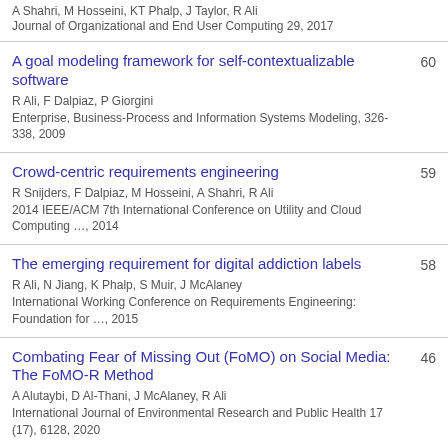A Shahri, M Hosseini, KT Phalp, J Taylor, R Ali
Journal of Organizational and End User Computing 29, 2017
A goal modeling framework for self-contextualizable software
R Ali, F Dalpiaz, P Giorgini
Enterprise, Business-Process and Information Systems Modeling, 326-338, 2009
60
Crowd-centric requirements engineering
R Snijders, F Dalpiaz, M Hosseini, A Shahri, R Ali
2014 IEEE/ACM 7th International Conference on Utility and Cloud Computing …, 2014
59
The emerging requirement for digital addiction labels
R Ali, N Jiang, K Phalp, S Muir, J McAlaney
International Working Conference on Requirements Engineering: Foundation for …, 2015
58
Combating Fear of Missing Out (FoMO) on Social Media: The FoMO-R Method
A Alutaybi, D Al-Thani, J McAlaney, R Ali
International Journal of Environmental Research and Public Health 17 (17), 6128, 2020
46